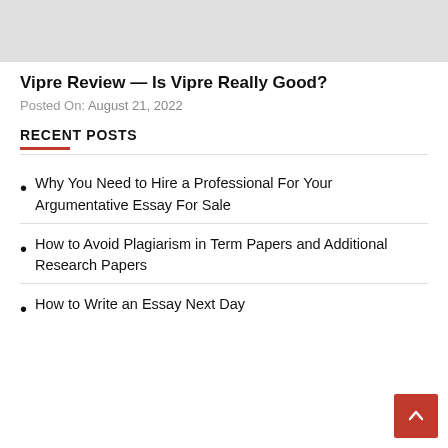[Figure (photo): Gray placeholder image at top of page]
Vipre Review — Is Vipre Really Good?
Posted On: August 21, 2022
RECENT POSTS
Why You Need to Hire a Professional For Your Argumentative Essay For Sale
How to Avoid Plagiarism in Term Papers and Additional Research Papers
How to Write an Essay Next Day